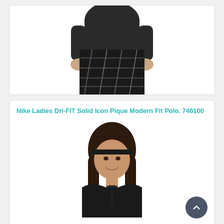[Figure (photo): Bottom portion of a person wearing a black top and black/grey plaid shorts, hands visible at sides]
[Figure (photo): Nike Ladies Dri-FIT Solid Icon Pique Modern Fit Polo product card showing a smiling woman with dark hair wearing a black polo shirt]
Nike Ladies Dri-FIT Solid Icon Pique Modern Fit Polo. 746100